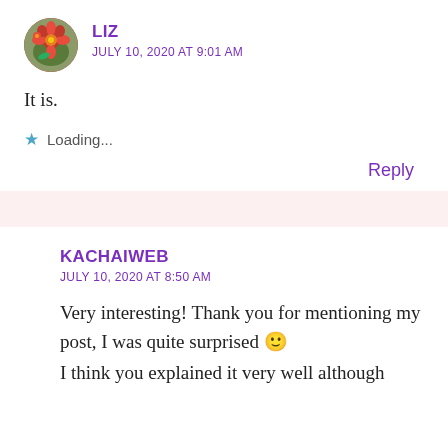[Figure (illustration): Circular avatar of user Liz showing flowers/floral photo]
LIZ
JULY 10, 2020 AT 9:01 AM
It is.
★ Loading...
Reply
KACHAIWEB
JULY 10, 2020 AT 8:50 AM
Very interesting! Thank you for mentioning my post, I was quite surprised 🙂
I think you explained it very well although